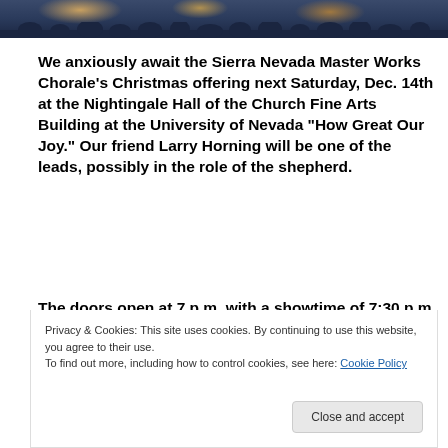[Figure (photo): Top strip showing a performance or concert scene with silhouettes of audience/performers against a stage background with warm lighting]
We anxiously await the Sierra Nevada Master Works Chorale's Christmas offering next Saturday, Dec. 14th at the Nightingale Hall of the Church Fine Arts Building at the University of Nevada "How Great Our Joy." Our friend Larry Horning will be one of the leads, possibly in the role of the shepherd.
The doors open at 7 p.m. with a showtime of 7:30 p.m.
samplings of the music to be offered, including,
Privacy & Cookies: This site uses cookies. By continuing to use this website, you agree to their use.
To find out more, including how to control cookies, see here: Cookie Policy